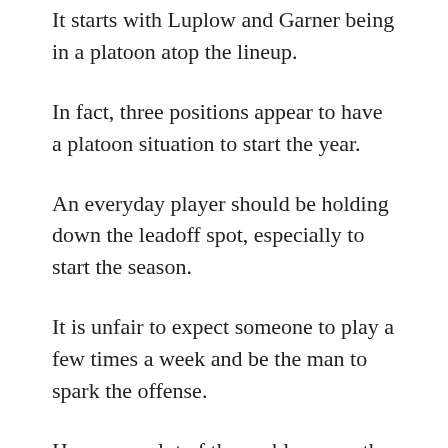It starts with Luplow and Garner being in a platoon atop the lineup.
In fact, three positions appear to have a platoon situation to start the year.
An everyday player should be holding down the leadoff spot, especially to start the season.
It is unfair to expect someone to play a few times a week and be the man to spark the offense.
However, a lot of the problems are the result of ownership and the front office not spending